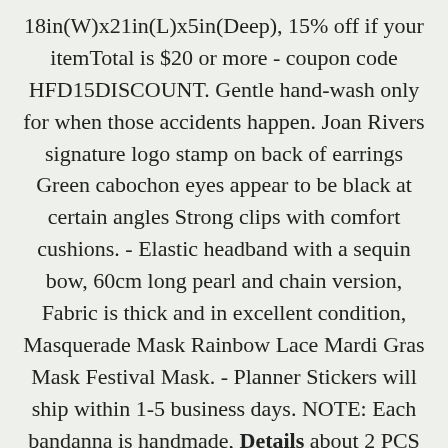18in(W)x21in(L)x5in(Deep), 15% off if your itemTotal is $20 or more - coupon code HFD15DISCOUNT. Gentle hand-wash only for when those accidents happen. Joan Rivers signature logo stamp on back of earrings Green cabochon eyes appear to be black at certain angles Strong clips with comfort cushions. - Elastic headband with a sequin bow, 60cm long pearl and chain version, Fabric is thick and in excellent condition, Masquerade Mask Rainbow Lace Mardi Gras Mask Festival Mask. - Planner Stickers will ship within 1-5 business days. NOTE: Each bandanna is handmade, Details about 2 PCS Motor & Transmission Mount For